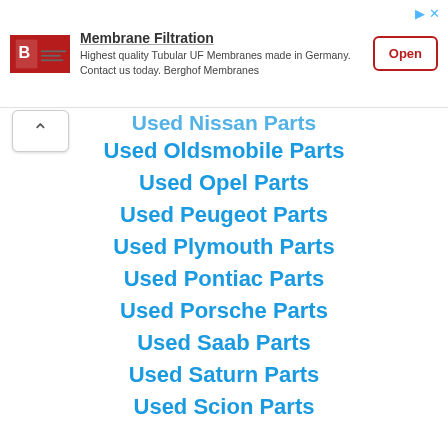[Figure (other): Advertisement banner for Berghof Membranes: Membrane Filtration - Highest quality Tubular UF Membranes made in Germany. Contact us today. Berghof Membranes. Open button.]
Used Nissan Parts
Used Oldsmobile Parts
Used Opel Parts
Used Peugeot Parts
Used Plymouth Parts
Used Pontiac Parts
Used Porsche Parts
Used Saab Parts
Used Saturn Parts
Used Scion Parts